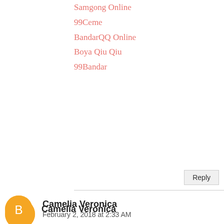Samgong Online
99Ceme
BandarQQ Online
Boya Qiu Qiu
99Bandar
Reply
Camelia Veronica
February 2, 2018 at 2:33 AM
This is very educating post, thanks for sharing with us.
Tips Menang AduQ
Tips Bermain AduQ
Reply
Camelia Veronica